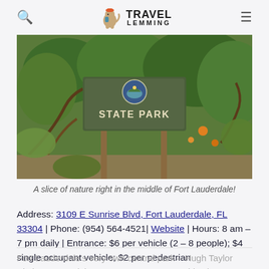Travel Lemming
[Figure (photo): A park sign reading STATE PARK against a backdrop of dense green foliage and twisted branches]
A slice of nature right in the middle of Fort Lauderdale!
Address: 3109 E Sunrise Blvd, Fort Lauderdale, FL 33304 | Phone: (954) 564-4521| Website | Hours: 8 am – 7 pm daily | Entrance: $6 per vehicle (2 – 8 people); $4 single occupant vehicle; $2 per pedestrian
Fort Lauderdale's very own central park – Hugh Taylor Birch State Park is an escape to nature amidst the